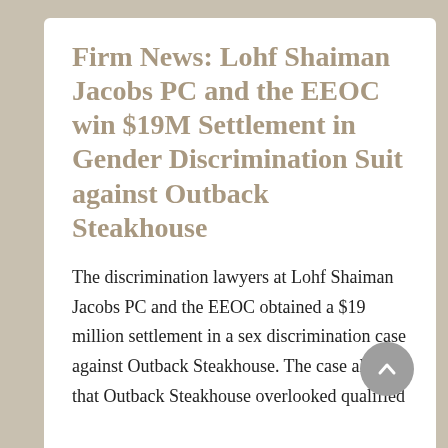Firm News: Lohf Shaiman Jacobs PC and the EEOC win $19M Settlement in Gender Discrimination Suit against Outback Steakhouse
The discrimination lawyers at Lohf Shaiman Jacobs PC and the EEOC obtained a $19 million settlement in a sex discrimination case against Outback Steakhouse. The case alleged that Outback Steakhouse overlooked qualified